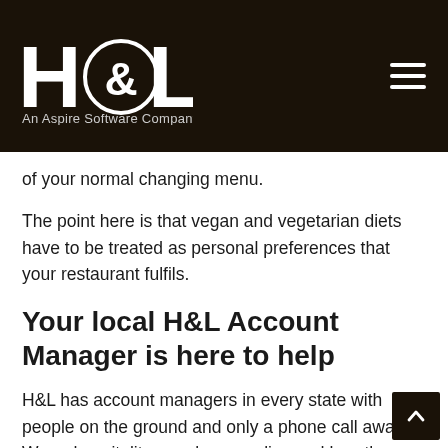H&L — An Aspire Software Company
of your normal changing menu.
The point here is that vegan and vegetarian diets have to be treated as personal preferences that your restaurant fulfils.
Your local H&L Account Manager is here to help
H&L has account managers in every state with people on the ground and only a phone call away. We are hospitality people so we live and breathe your